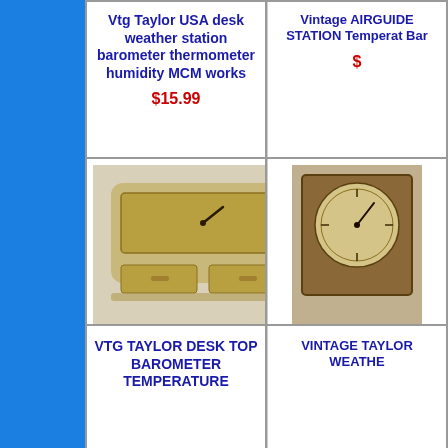[Figure (photo): Blue sidebar on left side of page]
Vtg Taylor USA desk weather station barometer thermometer humidity MCM works
$15.99
Vintage AIRGUIDE STATION Temperature Bar
$
[Figure (photo): Vintage Taylor Stormoguide weather station - Art Deco wooden desk unit with thermometer and humidity gauge]
TAYLOR STORMOGUIDE WEATHER STATION HUMIDITY THERMOMETER ANTIQUE 20's ART DECO
$29.95
[Figure (photo): Vintage Taylor weather station partial image on right]
VINTAGE TAYLOR WEATHE
$
VTG TAYLOR DESK TOP BAROMETER TEMPERATURE
VINTAGE TAYLOR WEATHE